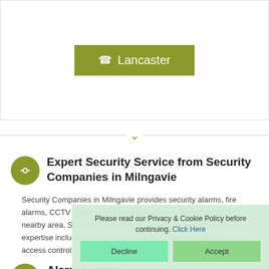[Figure (other): Green button with phone icon labeled Lancaster]
[Figure (other): Horizontal divider with olive-green downward chevron in the center]
Expert Security Service from Security Companies in Milngavie
Security Companies in Milngavie provides security alarms, fire alarms, CCTV systems and access control in the Milngavie and nearby area. Security Companies in Milngavie numerous service expertise includes fire detection and alarm systems, and el... access control, intrude...alarm...the...
Alarm Systems from Security Companies
Please read our Privacy & Cookie Policy before continuing. Click Here
Decline
Accept